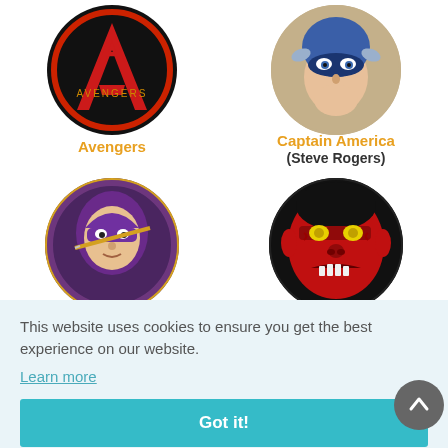[Figure (illustration): Avengers logo - red letter A on black circular background]
Avengers
[Figure (illustration): Captain America (Steve Rogers) comic book face illustration in circular frame]
Captain America
(Steve Rogers)
[Figure (illustration): Hawkeye comic book character in purple costume in circular frame]
[Figure (illustration): Red Hulk angry face comic book illustration in circular frame]
This website uses cookies to ensure you get the best experience on our website.
Learn more
Got it!
Spider-Man
Spider-Woman